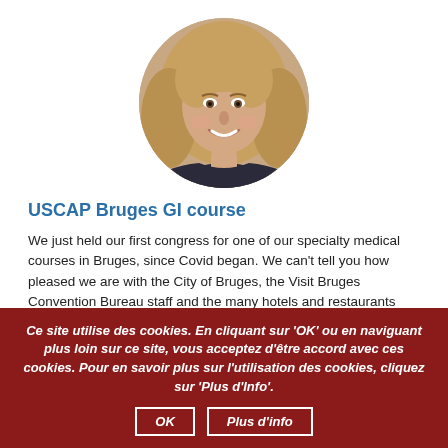[Figure (photo): Circular profile photo of a smiling woman with long blonde hair]
USCAP Bruges GI course
We just held our first congress for one of our specialty medical courses in Bruges, since Covid began. We can't tell you how pleased we are with the City of Bruges, the Visit Bruges Convention Bureau staff and the many hotels and restaurants involved. In particular, the Hotel Dukes Palace, where we held our meeting was an outstanding venue. We had the best service on all accounts. The Visit Bruges Convention Bureau assisted us every step of the way as we maneuvered through the ever changing Covid restrictions. What a great team! We are grateful for the wonderful service and beautiful city of Bruges. I would not hesitate to book my next meeting there.
Ce site utilise des cookies. En cliquant sur 'OK' ou en naviguant plus loin sur ce site, vous acceptez d'être accord avec ces cookies. Pour en savoir plus sur l'utilisation des cookies, cliquez sur 'Plus d'Info'.
OK   Plus d'info